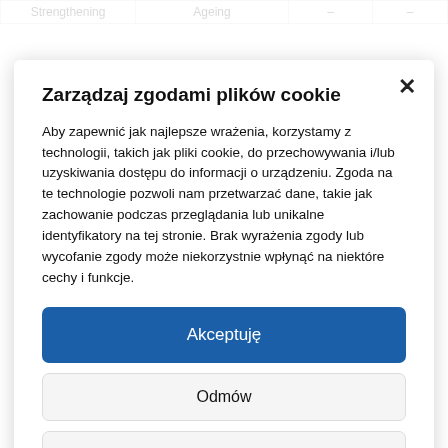| Strengthening | Ageing |  |  |
| --- | --- | --- | --- |
|  |  | – | – |
Zarządzaj zgodami plików cookie
Aby zapewnić jak najlepsze wrażenia, korzystamy z technologii, takich jak pliki cookie, do przechowywania i/lub uzyskiwania dostępu do informacji o urządzeniu. Zgoda na te technologie pozwoli nam przetwarzać dane, takie jak zachowanie podczas przeglądania lub unikalne identyfikatory na tej stronie. Brak wyrażenia zgody lub wycofanie zgody może niekorzystnie wpłynąć na niektóre cechy i funkcje.
Akceptuję
Odmów
View preferences
Informačni doložka